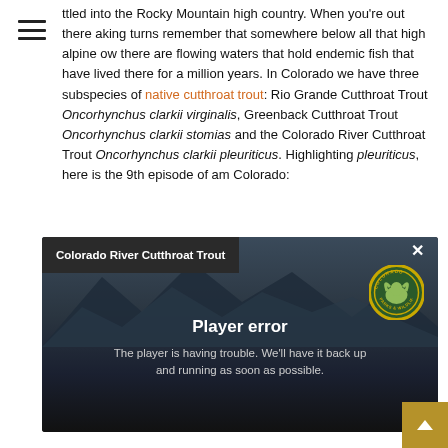ttled into the Rocky Mountain high country. When you're out there aking turns remember that somewhere below all that high alpine ow there are flowing waters that hold endemic fish that have lived there for a million years. In Colorado we have three subspecies of native cutthroat trout: Rio Grande Cutthroat Trout Oncorhynchus clarkii virginalis, Greenback Cutthroat Trout Oncorhynchus clarkii stomias and the Colorado River Cutthroat Trout Oncorhynchus clarkii pleuriticus. Highlighting pleuriticus, here is the 9th episode of am Colorado:
[Figure (screenshot): Embedded video player showing 'Colorado River Cutthroat Trout' with a Player error message: 'The player is having trouble. We'll have it back up and running as soon as possible.' Background shows mountain silhouette and Colorado Parks & Wildlife logo.]